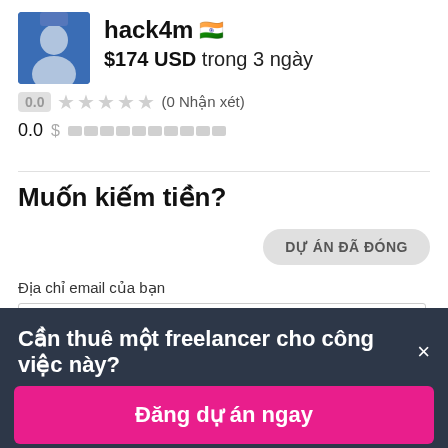[Figure (photo): Profile photo of user hack4m, a person in a blue shirt]
hack4m 🇮🇳
$174 USD trong 3 ngày
0.0 ★★★★★ (0 Nhận xét)
0.0 $ ██████████
Muốn kiếm tiền?
DỰ ÁN ĐÃ ĐÓNG
Địa chỉ email của bạn
Cần thuê một freelancer cho công việc này? ×
Đăng dự án ngay